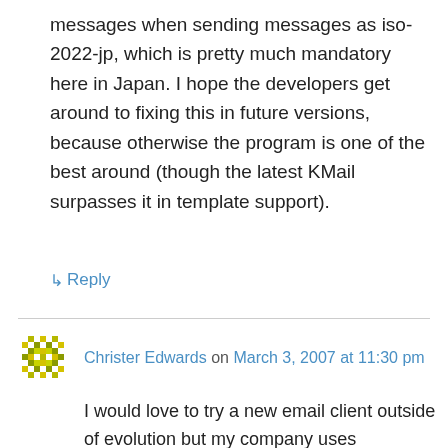messages when sending messages as iso-2022-jp, which is pretty much mandatory here in Japan. I hope the developers get around to fixing this in future versions, because otherwise the program is one of the best around (though the latest KMail surpasses it in template support).
↳ Reply
Christer Edwards on March 3, 2007 at 11:30 pm
I would love to try a new email client outside of evolution but my company uses Exchange and Evolution or Kmail are the only ones that I've found to support it.
I am about this close to just refusing to use the